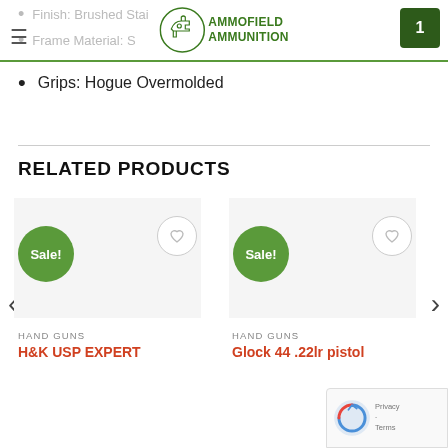Ammofield Ammunition
Finish: Brushed Stainless
Frame Material: Stainless
Grips: Hogue Overmolded
RELATED PRODUCTS
[Figure (screenshot): Product card showing Sale! badge and wishlist heart button for H&K USP EXPERT handgun]
HAND GUNS
H&K USP EXPERT
[Figure (screenshot): Product card showing Sale! badge and wishlist heart button for Glock 44 .22lr pistol]
HAND GUNS
Glock 44 .22lr pistol